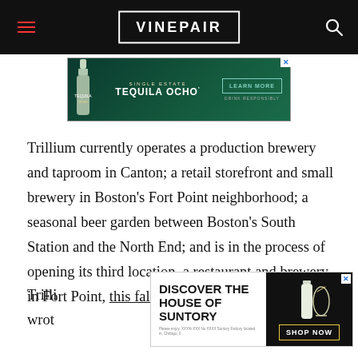VinePair
[Figure (advertisement): Single Estate Tequila Ocho advertisement with bottle on dark green background, Learn More button]
Trillium currently operates a production brewery and taproom in Canton; a retail storefront and small brewery in Boston’s Fort Point neighborhood; a seasonal beer garden between Boston’s South Station and the North End; and is in the process of opening its third location, a restaurant and brewery in Fort Point, this fall.
Trill
[Figure (advertisement): Discover the House of Suntory advertisement with bottle and cocktail image, Shop Now button]